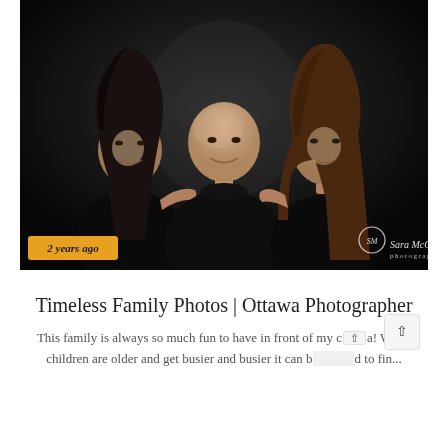[Figure (photo): Professional family portrait of three people (woman on left, bald man in center, teenage girl on right) wearing black clothing against a dark studio background. A '2 years ago' gold/amber badge is in the bottom-left corner. A 'Sara McConnell photography' watermark with circular logo is in the bottom-right corner.]
Timeless Family Photos | Ottawa Photographer
This family is always so much fun to have in front of my camera! When children are older and get busier and busier it can be hard to fin...